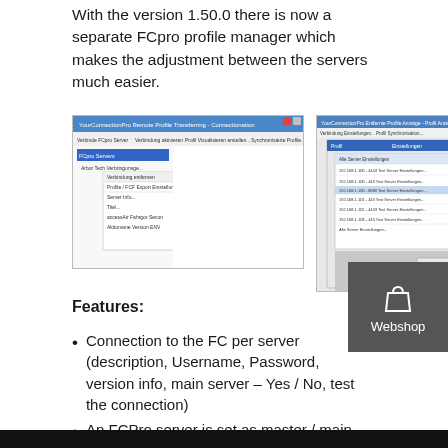With the version 1.50.0 there is now a separate FCpro profile manager which makes the adjustment between the servers much easier.
[Figure (screenshot): Two side-by-side screenshots of the FCpro profile manager application interface showing menus and data grids.]
Features:
Connection to the FC per server (description, Username, Password, version info, main server – Yes / No, test the connection)
An FCPro server is set as master / main server, from which all profiles are replicated to the other servers.
Communication with the FCpro servers takes place via SOAP Web Services (http / https)
Retrieve FCpro server info and server statistics